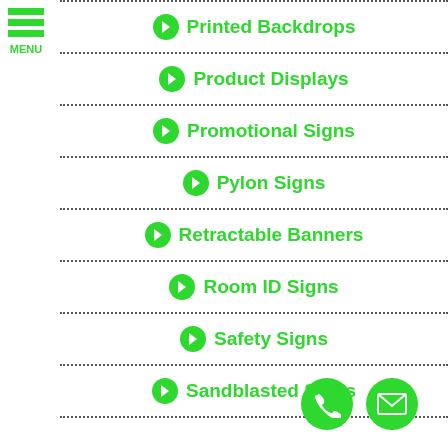[Figure (other): Green hamburger menu icon with three horizontal bars and MENU label]
Printed Backdrops
Product Displays
Promotional Signs
Pylon Signs
Retractable Banners
Room ID Signs
Safety Signs
Sandblasted Signs
[Figure (other): Green circular phone icon and green circular mail/envelope icon at bottom right]